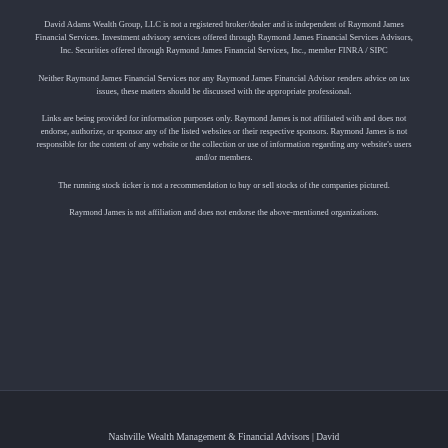David Adams Wealth Group, LLC is not a registered broker/dealer and is independent of Raymond James Financial Services. Investment advisory services offered through Raymond James Financial Services Advisors, Inc. Securities offered through Raymond James Financial Services, Inc., member FINRA / SIPC
Neither Raymond James Financial Services nor any Raymond James Financial Advisor renders advice on tax issues, these matters should be discussed with the appropriate professional.
Links are being provided for information purposes only. Raymond James is not affiliated with and does not endorse, authorize, or sponsor any of the listed websites or their respective sponsors. Raymond James is not responsible for the content of any website or the collection or use of information regarding any website's users and/or members.
The running stock ticker is not a recommendation to buy or sell stocks of the companies pictured.
Raymond James is not affiliation and does not endorse the above-mentioned organizations.
Nashville Wealth Management & Financial Advisors | David